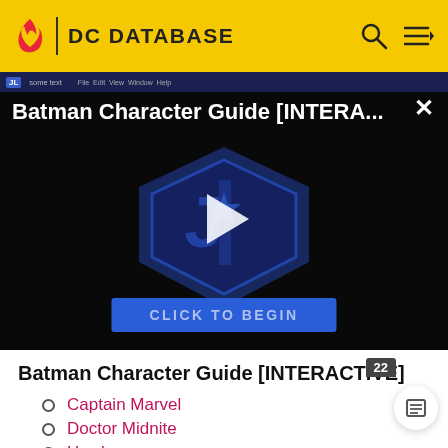DC DATABASE
[Figure (screenshot): Batman Character Guide [INTERA...] video thumbnail with play button and CLICK TO BEGIN button overlay, on dark background with Justice League logo]
Batman Character Guide [INTERACTIVE]
Captain Marvel
Doctor Midnite
Hawkwoman
Revenant